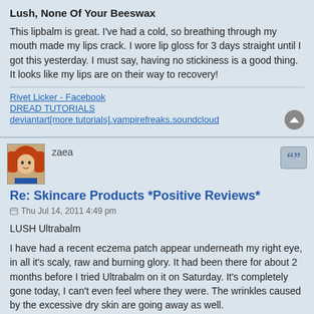Lush, None Of Your Beeswax
This lipbalm is great. I've had a cold, so breathing through my mouth made my lips crack. I wore lip gloss for 3 days straight until I got this yesterday. I must say, having no stickiness is a good thing. It looks like my lips are on their way to recovery!
Rivet Licker - Facebook
DREAD TUTORIALS
deviantart[more tutorials].vampirefreaks.soundcloud
zaea
Re: Skincare Products *Positive Reviews*
Thu Jul 14, 2011 4:49 pm
LUSH Ultrabalm
I have had a recent eczema patch appear underneath my right eye, in all it's scaly, raw and burning glory. It had been there for about 2 months before I tried Ultrabalm on it on Saturday. It's completely gone today, I can't even feel where they were. The wrinkles caused by the excessive dry skin are going away as well.